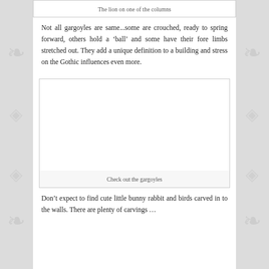The lion on one of the columns
Not all gargoyles are same...some are crouched, ready to spring forward, others hold a ‘ball’ and some have their fore limbs stretched out. They add a unique definition to a building and stress on the Gothic influences even more.
[Figure (photo): A blank/white image placeholder for a photo of gargoyles]
Check out the gargoyles
Don’t expect to find cute little bunny rabbit and birds carved in to the walls. There are plenty of carvings …